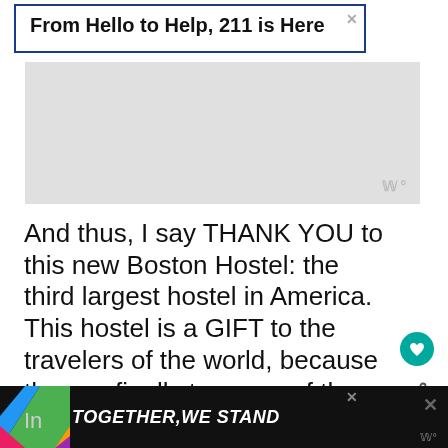[Figure (screenshot): Advertisement banner with dark blue border reading 'From Hello to Help, 211 is Here' with close X button]
[Figure (screenshot): Gray placeholder advertisement block with weather widget icon in bottom right]
And thus, I say THANK YOU to this new Boston Hostel: the third largest hostel in America. This hostel is a GIFT to the travelers of the world, because they ca finally tour one of the best cities on earth affordably.
[Figure (screenshot): Bottom advertisement bar with colorful design reading TOGETHER,WE STAND on dark background]